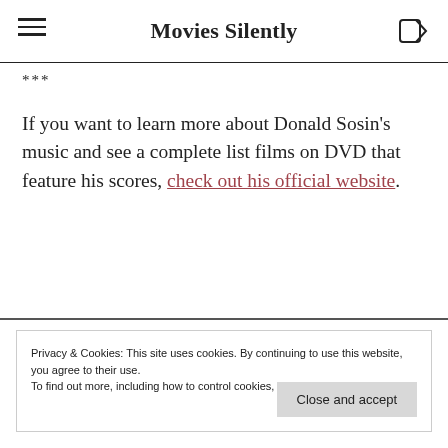Movies Silently
***
If you want to learn more about Donald Sosin's music and see a complete list films on DVD that feature his scores, check out his official website.
Privacy & Cookies: This site uses cookies. By continuing to use this website, you agree to their use.
To find out more, including how to control cookies, see here: Cookie Policy
Close and accept